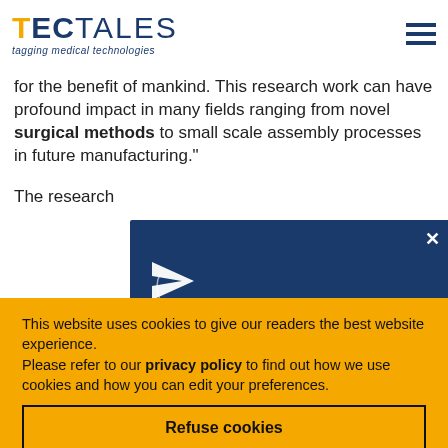[Figure (logo): TecTales logo — TECTALES in dark blue with yellow T, subtitle 'tagging medical technologies' in italic dark blue]
for the benefit of mankind. This research work can have profound impact in many fields ranging from novel surgical methods to small scale assembly processes in future manufacturing."
The research
[Figure (screenshot): Subscribe to Newsletter popup overlay on dark blue background with paper plane icon and partial text 'Subscribe to Newsletter']
This website uses cookies to give our readers the best website experience.
Please refer to our privacy policy to find out how we use cookies and how you can edit your preferences.
Refuse cookies
Accept cookies